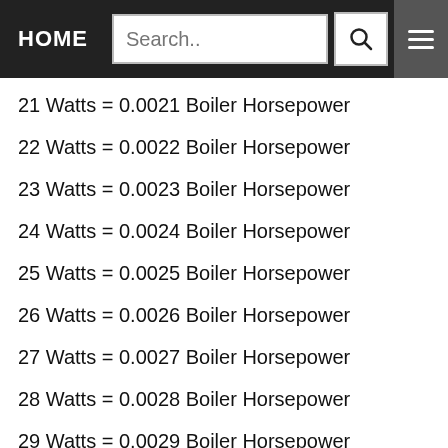HOME | Search..
21 Watts = 0.0021 Boiler Horsepower
22 Watts = 0.0022 Boiler Horsepower
23 Watts = 0.0023 Boiler Horsepower
24 Watts = 0.0024 Boiler Horsepower
25 Watts = 0.0025 Boiler Horsepower
26 Watts = 0.0026 Boiler Horsepower
27 Watts = 0.0027 Boiler Horsepower
28 Watts = 0.0028 Boiler Horsepower
29 Watts = 0.0029 Boiler Horsepower
30 Watts = 0.003 Boiler Horsepower
31 Watts = 0.0031 Boiler Horsepower